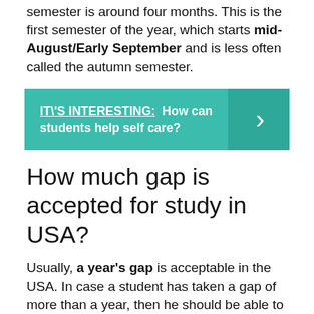semester is around four months. This is the first semester of the year, which starts mid-August/Early September and is less often called the autumn semester.
[Figure (infographic): Teal banner with link text 'IT\'S INTERESTING: How can students help self care?' and a right-chevron arrow on a darker teal background on the right side.]
How much gap is accepted for study in USA?
Usually, a year's gap is acceptable in the USA. In case a student has taken a gap of more than a year, then he should be able to support it with sufficient evidence. If a student has dropped out of college or took a